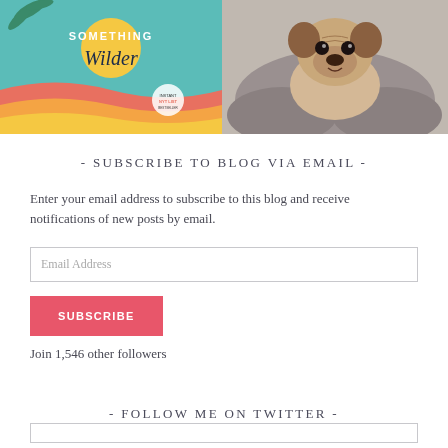[Figure (photo): Two photos side by side: left shows a book cover for 'Something Wilder' with teal/colorful design, right shows a pug dog lying on a grey fluffy surface]
- SUBSCRIBE TO BLOG VIA EMAIL -
Enter your email address to subscribe to this blog and receive notifications of new posts by email.
Email Address
SUBSCRIBE
Join 1,546 other followers
- FOLLOW ME ON TWITTER -